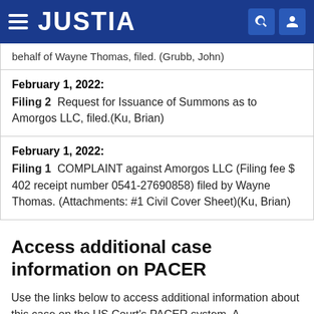JUSTIA
behalf of Wayne Thomas, filed. (Grubb, John)
February 1, 2022:
Filing 2  Request for Issuance of Summons as to Amorgos LLC, filed.(Ku, Brian)
February 1, 2022:
Filing 1  COMPLAINT against Amorgos LLC (Filing fee $ 402 receipt number 0541-27690858) filed by Wayne Thomas. (Attachments: #1 Civil Cover Sheet)(Ku, Brian)
Access additional case information on PACER
Use the links below to access additional information about this case on the US Court's PACER system. A